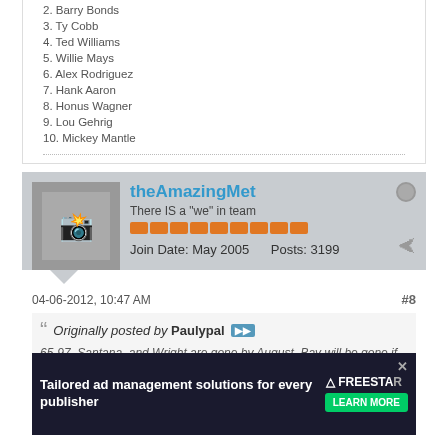2. Barry Bonds
3. Ty Cobb
4. Ted Williams
5. Willie Mays
6. Alex Rodriguez
7. Hank Aaron
8. Honus Wagner
9. Lou Gehrig
10. Mickey Mantle
theAmazingMet
There IS a "we" in team
Join Date: May 2005    Posts: 3199
04-06-2012, 10:47 AM    #8
Originally posted by Paulypal
65-97, Santana, and Wright are gone by August, Bay will be gone if he hits at all with the Mets eating a lot of money on him, and Collins will be gone. A new GM and new manager. The Mets sentence will be over. The next GM / DePodesta will be named the GM) will have a brain, and not 5 monkeys that don't